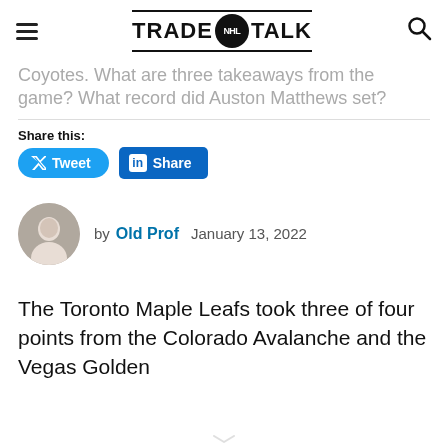TRADE NHL TALK
Coyotes. What are three takeaways from the game? What record did Auston Matthews set?
Share this:
[Figure (other): Tweet and LinkedIn Share buttons]
[Figure (photo): Author avatar photo of Old Prof]
by Old Prof  January 13, 2022
The Toronto Maple Leafs took three of four points from the Colorado Avalanche and the Vegas Golden